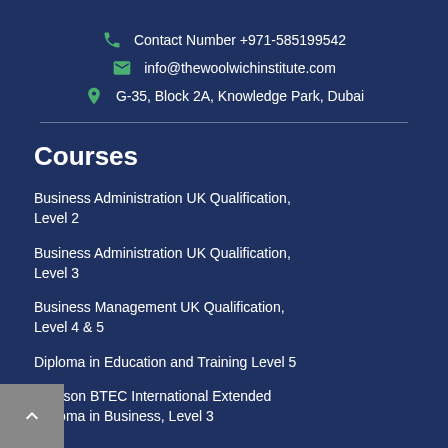Contact Number +971-585199542
info@thewoolwichinstitute.com
G-35, Block 2A, Knowledge Park, Dubai
Courses
Business Administration UK Qualification, Level 2
Business Administration UK Qualification, Level 3
Business Management UK Qualification, Level 4 & 5
Diploma in Education and Training Level 5
Pearson BTEC International Extended Diploma in Business, Level 3